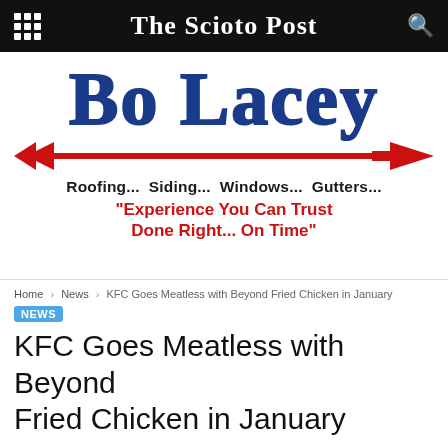The Scioto Post
[Figure (illustration): Bo Lacey roofing advertisement with large blue serif 'BO LACEY' text, red arrow graphic, bold tagline 'Roofing... Siding... Windows... Gutters...' and red slogan 'Experience You Can Trust Done Right... On Time']
Home > News > KFC Goes Meatless with Beyond Fried Chicken in January
NEWS
KFC Goes Meatless with Beyond Fried Chicken in January